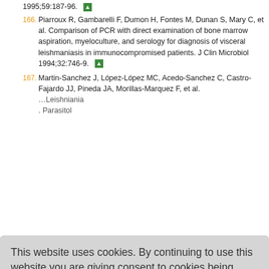1995;59:187-96.
166. Piarroux R, Gambarelli F, Dumon H, Fontes M, Dunan S, Mary C, et al. Comparison of PCR with direct examination of bone marrow aspiration, myeloculture, and serology for diagnosis of visceral leishmaniasis in immunocompromised patients. J Clin Microbiol 1994;32:746-9.
167. Martin-Sanchez J, López-López MC, Acedo-Sanchez C, Castro-Fajardo JJ, Pineda JA, Morillas-Marquez F, et al. Leishmania... Parasitol...
This website uses cookies. By continuing to use this website you are giving consent to cookies being used. For information on cookies and how you can disable them visit our
Privacy and Cookie Policy.
AGREE & PROCEED
Leishmania infantum infection in patie